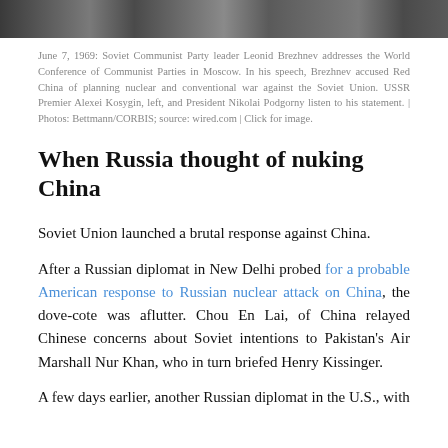[Figure (photo): Black and white historical photograph strip showing people at the World Conference of Communist Parties, partially cropped at the top of the page.]
June 7, 1969: Soviet Communist Party leader Leonid Brezhnev addresses the World Conference of Communist Parties in Moscow. In his speech, Brezhnev accused Red China of planning nuclear and conventional war against the Soviet Union. USSR Premier Alexei Kosygin, left, and President Nikolai Podgorny listen to his statement. | Photos: Bettmann/CORBIS; source: wired.com | Click for image.
When Russia thought of nuking China
Soviet Union launched a brutal response against China.
After a Russian diplomat in New Delhi probed for a probable American response to Russian nuclear attack on China, the dove-cote was aflutter. Chou En Lai, of China relayed Chinese concerns about Soviet intentions to Pakistan's Air Marshall Nur Khan, who in turn briefed Henry Kissinger.
A few days earlier, another Russian diplomat in the U.S., with